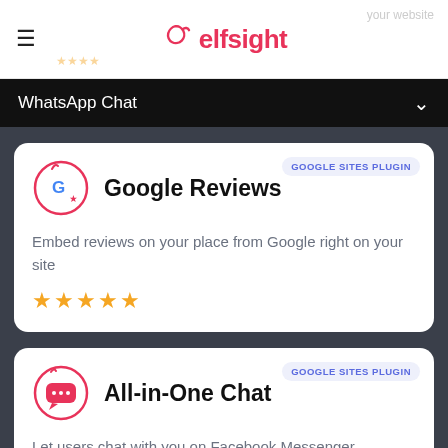elfsight
WhatsApp Chat
Google Reviews
Embed reviews on your place from Google right on your site
[Figure (other): Five gold star rating]
All-in-One Chat
Let users chat with you on Facebook Messenger, WhatsApp, Telegram, etc.
[Figure (other): Four gold star rating (partial)]